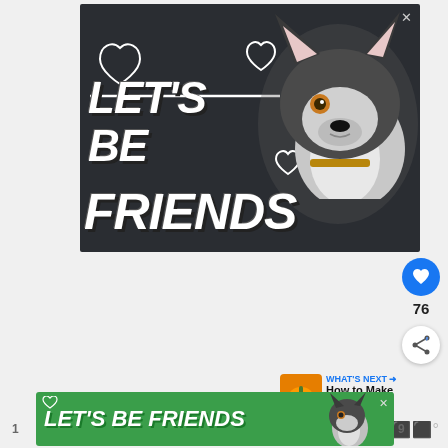[Figure (illustration): Advertisement banner with dark background showing a Siberian Husky dog and bold white italic text reading LET'S BE FRIENDS with heart outlines and decorative hearts. Has a close (X) button in top right corner.]
[Figure (illustration): Blue circular like/heart button on the right sidebar]
76
[Figure (illustration): Share button (circular white with share icon) on right sidebar]
[Figure (illustration): WHAT'S NEXT panel showing a pumpkin thumbnail and text 'How to Make Pumpkin...']
[Figure (illustration): Bottom banner ad with green background showing LET'S BE FRIENDS text and Siberian Husky dog, with close X button]